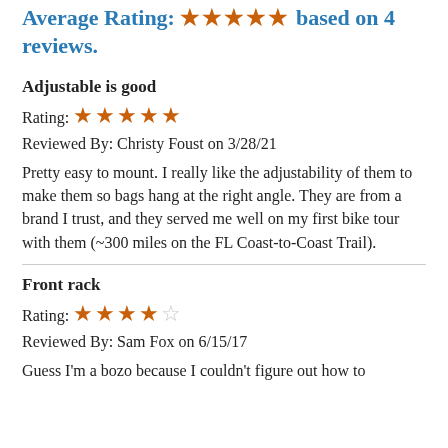Average Rating: ★★★★★ based on 4 reviews.
Adjustable is good
Rating: ★★★★★
Reviewed By: Christy Foust on 3/28/21
Pretty easy to mount. I really like the adjustability of them to make them so bags hang at the right angle. They are from a brand I trust, and they served me well on my first bike tour with them (~300 miles on the FL Coast-to-Coast Trail).
Front rack
Rating: ★★★★☆
Reviewed By: Sam Fox on 6/15/17
Guess I'm a bozo because I couldn't figure out how to